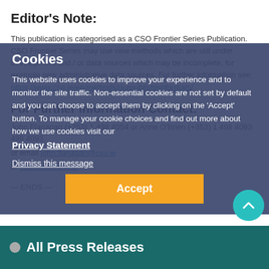Editor's Note:
This publication is categorised as a CSO Frontier Series Publication. CSO Frontier Series may use new methods which are still under development and / or data sources which may be incomplete, for example new administrative data sources. For further information see: https://www.cso.ie/en/methods/ourpublishingformats/
For Further Information Contact:
John Flanagan (+353) 1 498 4054 or Anne O'Brien (+353) 1 498 4093
or email john.flanagan@cso.ie
or statistics@cso.ie
[Figure (screenshot): Cookie consent overlay with title 'Cookies', body text about cookie usage, Privacy Statement link, Dismiss this message link, and Accept button]
All Press Releases